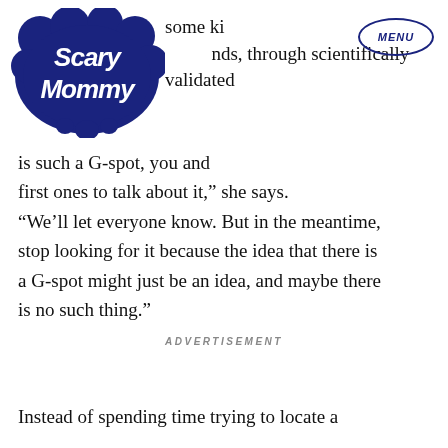[Figure (logo): Scary Mommy logo — dark navy blue cloud/speech bubble shape with stylized cursive text 'Scary Mommy' inside]
MENU
some kinds of foods, through scientifically validated is such a G-spot, you and first ones to talk about it,” she says. “We’ll let everyone know. But in the meantime, stop looking for it because the idea that there is a G-spot might just be an idea, and maybe there is no such thing.”
ADVERTISEMENT
Instead of spending time trying to locate a